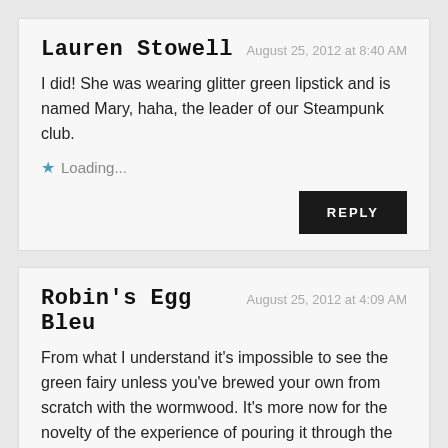Lauren Stowell
August 25, 2012 at 8:40 AM
I did! She was wearing glitter green lipstick and is named Mary, haha, the leader of our Steampunk club.
Loading...
REPLY
Robin's Egg Bleu
August 25, 2012 at 4:09 AM
From what I understand it's impossible to see the green fairy unless you've brewed your own from scratch with the wormwood. It's more now for the novelty of the experience of pouring it through the sugar and slotted spoon.